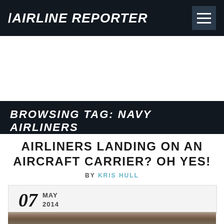AIRLINE REPORTER
BROWSING TAG: NAVY AIRLINERS
AIRLINERS LANDING ON AN AIRCRAFT CARRIER? OH YES!
BY KRIS HULL
07 MAY 2014
[Figure (photo): Partial photo of an aircraft carrier deck seen from above, showing runway markings and deck surface]